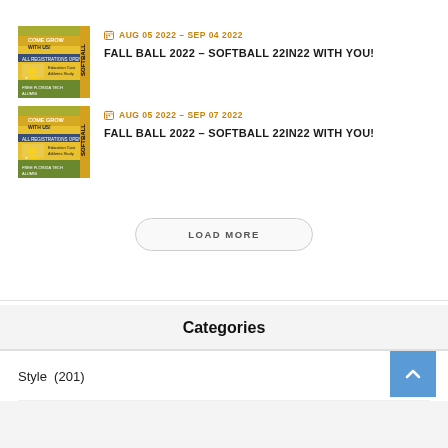[Figure (photo): Partial view of a softball event promotional image at top, cropped]
AUG 05 2022 – SEP 04 2022
FALL BALL 2022 – SOFTBALL 22IN22 WITH YOU!
[Figure (photo): Softball 22in22 promotional flyer image]
AUG 05 2022 – SEP 07 2022
FALL BALL 2022 – SOFTBALL 22IN22 WITH YOU!
LOAD MORE
Categories
Style  (201)